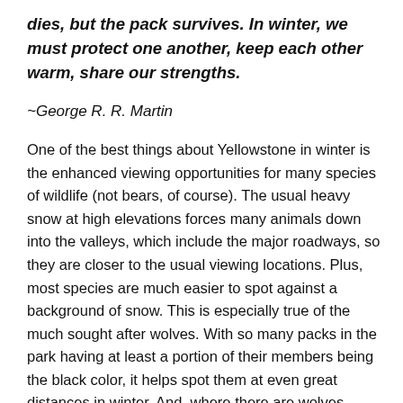dies, but the pack survives. In winter, we must protect one another, keep each other warm, share our strengths.
~George R. R. Martin
One of the best things about Yellowstone in winter is the enhanced viewing opportunities for many species of wildlife (not bears, of course). The usual heavy snow at high elevations forces many animals down into the valleys, which include the major roadways, so they are closer to the usual viewing locations. Plus, most species are much easier to spot against a background of snow. This is especially true of the much sought after wolves. With so many packs in the park having at least a portion of their members being the black color, it helps spot them at even great distances in winter. And, where there are wolves,